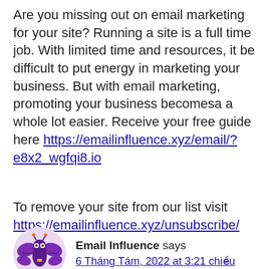Are you missing out on email marketing for your site? Running a site is a full time job. With limited time and resources, it be difficult to put energy in marketing your business. But with email marketing, promoting your business becomesa a whole lot easier. Receive your free guide here https://emailinfluence.xyz/email/?e8x2_wgfqi8.io
To remove your site from our list visit https://emailinfluence.xyz/unsubscribe/
Email Influence says
6 Tháng Tám, 2022 at 3:21 chiều